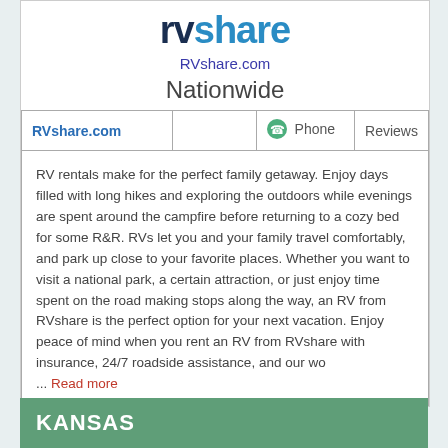RVshare
RVshare.com
Nationwide
| RVshare.com |  | Phone | Reviews |
| --- | --- | --- | --- |
|  |
RV rentals make for the perfect family getaway. Enjoy days filled with long hikes and exploring the outdoors while evenings are spent around the campfire before returning to a cozy bed for some R&R. RVs let you and your family travel comfortably, and park up close to your favorite places. Whether you want to visit a national park, a certain attraction, or just enjoy time spent on the road making stops along the way, an RV from RVshare is the perfect option for your next vacation. Enjoy peace of mind when you rent an RV from RVshare with insurance, 24/7 roadside assistance, and our wo ... Read more
KANSAS